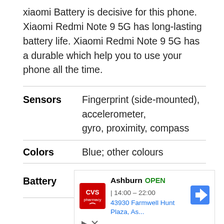xiaomi Battery is decisive for this phone. Xiaomi Redmi Note 9 5G has long-lasting battery life. Xiaomi Redmi Note 9 5G has a durable which help you to use your phone all the time.
| Feature | Details |
| --- | --- |
| Sensors | Fingerprint (side-mounted), accelerometer, gyro, proximity, compass |
| Colors | Blue; other colours |
| Battery | Li-Po 5000 mAh, non-removable |
[Figure (other): CVS Pharmacy advertisement showing Ashburn location open 14:00-22:00 at 43930 Farmwell Hunt Plaza]